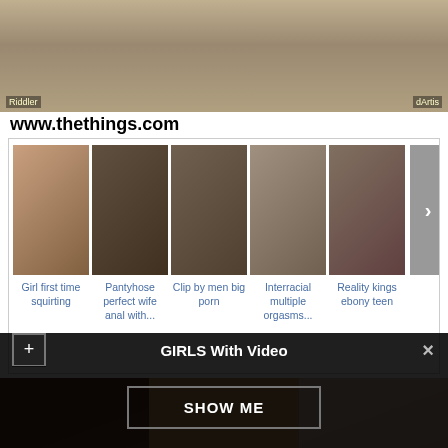[Figure (screenshot): Top image bar showing women in a laundry or industrial setting, multiple frames, with small text labels 'Riddler' and 'dArtis' at bottom corners]
www.thethings.com
[Figure (screenshot): Carousel of video thumbnails with captions: 'Girl first time squirting', 'Pantyhose perfect wife anal with...', 'Clip by men big porn', 'Interracial multiple orgasms...', 'Reality kings ebony teen', with a right arrow button]
[Figure (screenshot): Three explicit adult video thumbnail images side by side at bottom of page, with yellow warning text overlay at bottom]
GIRLS With Video
SHOW ME